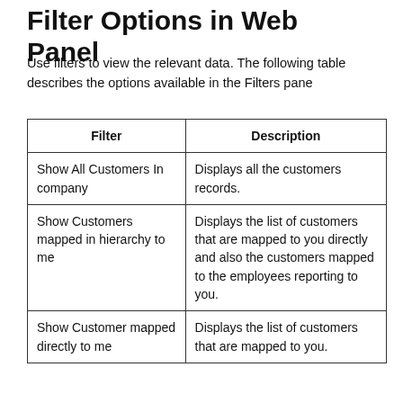Filter Options in Web Panel
Use filters to view the relevant data. The following table describes the options available in the Filters pane
| Filter | Description |
| --- | --- |
| Show All Customers In company | Displays all the customers records. |
| Show Customers mapped in hierarchy to me | Displays the list of customers that are mapped to you directly and also the customers mapped to the employees reporting to you. |
| Show Customer mapped directly to me | Displays the list of customers that are mapped to you. |